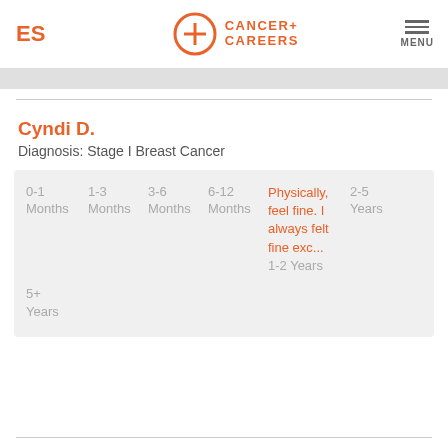ES | CANCER+ CAREERS | MENU
Cyndi D.
Diagnosis: Stage I Breast Cancer
0-1 Months  1-3 Months  3-6 Months  6-12 Months  Physically, feel fine. I always felt fine exc...  1-2 Years  2-5 Years  5+ Years